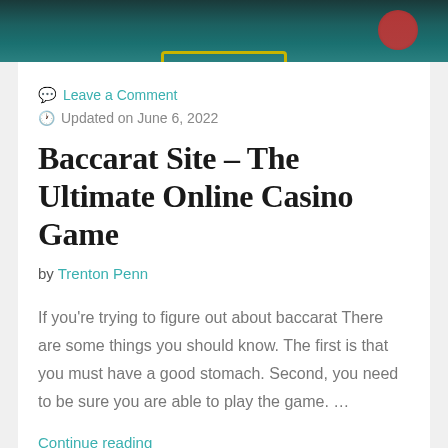[Figure (photo): Top banner image of a baccarat casino table with green felt and yellow border lines, with casino chips visible in the upper right corner.]
Leave a Comment
Updated on June 6, 2022
Baccarat Site – The Ultimate Online Casino Game
by Trenton Penn
If you're trying to figure out about baccarat There are some things you should know. The first is that you must have a good stomach. Second, you need to be sure you are able to play the game. …
Continue reading